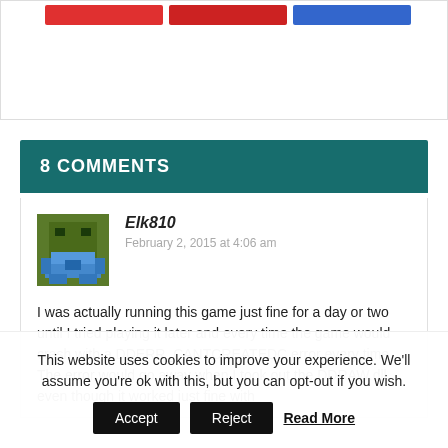[Figure (other): Share buttons (red and blue) at the top of the page]
8 COMMENTS
[Figure (illustration): Pixel art avatar of user Elk810 — a robot/character in green and blue colors]
Elk810
February 2, 2015 at 4:06 am
I was actually running this game just fine for a day or two until I tried playing it later and every time the game would crash with a DDERR_CANTCREATEDC error every time. The error would go away when I took out the DDRAW.dll even though it worked just fine with
This website uses cookies to improve your experience. We'll assume you're ok with this, but you can opt-out if you wish.
Accept
Reject
Read More